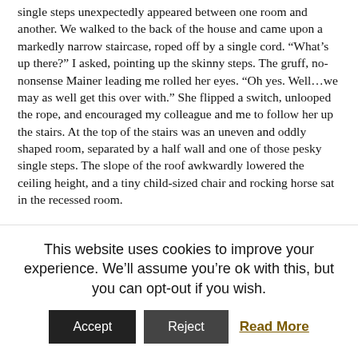single steps unexpectedly appeared between one room and another. We walked to the back of the house and came upon a markedly narrow staircase, roped off by a single cord. “What’s up there?” I asked, pointing up the skinny steps. The gruff, no-nonsense Mainer leading me rolled her eyes. “Oh yes. Well…we may as well get this over with.” She flipped a switch, unlooped the rope, and encouraged my colleague and me to follow her up the stairs. At the top of the stairs was an uneven and oddly shaped room, separated by a half wall and one of those pesky single steps. The slope of the roof awkwardly lowered the ceiling height, and a tiny child-sized chair and rocking horse sat in the recessed room.

“This was the children’s playroom when the house was built in 1804. You’ve probably heard: the house is haunted by Mr.
This website uses cookies to improve your experience. We’ll assume you’re ok with this, but you can opt-out if you wish.